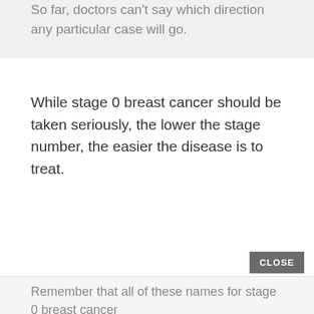So far, doctors can't say which direction any particular case will go.
While stage 0 breast cancer should be taken seriously, the lower the stage number, the easier the disease is to treat.
CLOSE
Remember that all of these names for stage 0 breast cancer are just different ways of referring to the same thing. Read...